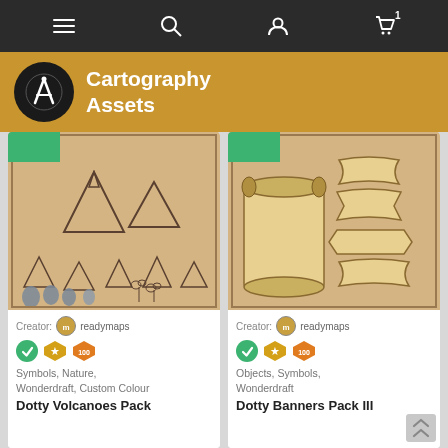Navigation bar with menu, search, account, and cart icons
Cartography Assets
[Figure (illustration): Product image showing hand-drawn volcano and nature symbols on parchment background with a green tag in the top-left corner]
Creator: readymaps
Symbols, Nature, Wonderdraft, Custom Colour
Dotty Volcanoes Pack
[Figure (illustration): Product image showing hand-drawn scroll and banner ribbon illustrations on parchment background with a green tag in the top-left corner]
Creator: readymaps
Objects, Symbols, Wonderdraft
Dotty Banners Pack III